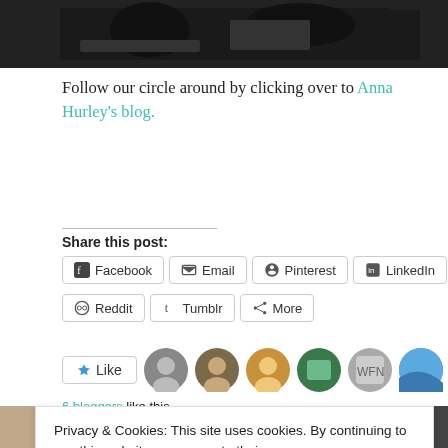[Figure (photo): Dark black and white photo at top of page showing a scene with equipment or instruments]
Follow our circle around by clicking over to Anna Hurley's blog.
Share this post:
Facebook  Email  Pinterest  LinkedIn  Reddit  Tumblr  More
Like  6 bloggers like this.
Privacy & Cookies: This site uses cookies. By continuing to use this website, you agree to their use.
To find out more, including how to control cookies, see here: Cookie Policy
Close and accept
[Figure (photo): Two small thumbnail photos at the bottom of the page]